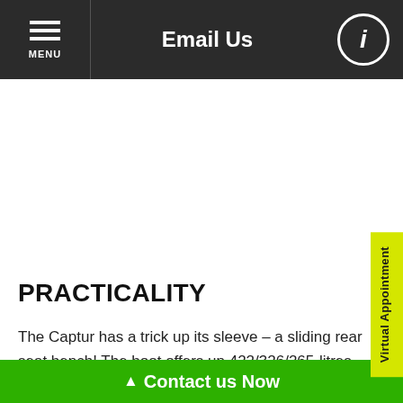Email Us
PRACTICALITY
The Captur has a trick up its sleeve – a sliding rear seat bench! The boot offers up 422/326/265-litres of space (petrol, hybrid, plug-in hybrid) with the rear seat pushed back, expanding to 536/440/379-litres with it
Contact us Now